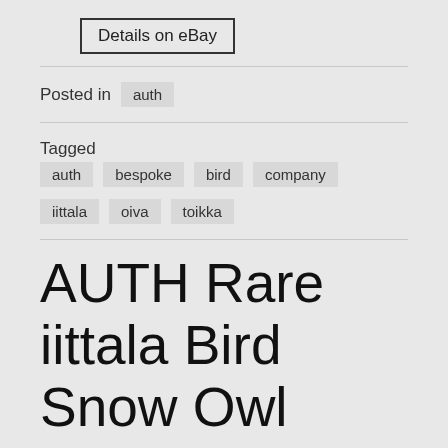Details on eBay
Posted in  auth
Tagged  auth  bespoke  bird  company  iittala  oiva  toikka
AUTH Rare iittala Bird Snow Owl Oiva Toikka 2013 Limited product